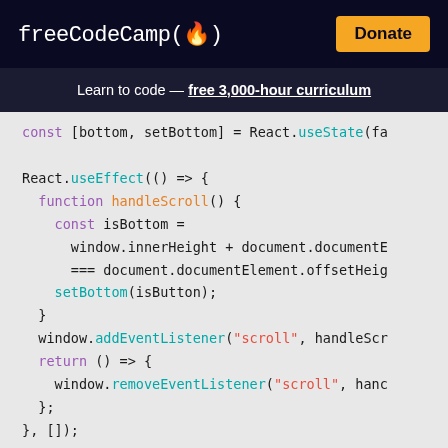freeCodeCamp(🔥)   Donate
Learn to code — free 3,000-hour curriculum
[Figure (screenshot): Code snippet showing React.useEffect hook with handleScroll function, addEventListener and removeEventListener for scroll events, and return bottom statement.]